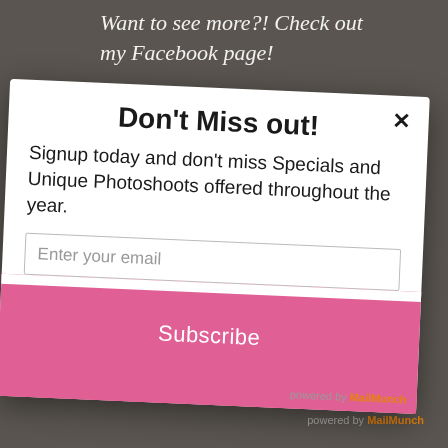[Figure (screenshot): Dark grey background of a photography website with cursive italic white text reading 'Want to see more?! Check out my Facebook page!' partially visible at the top, and a small photo thumbnail at the bottom with caption text partially visible.]
Don't Miss out!
Signup today and don't miss Specials and Unique Photoshoots offered throughout the year.
Enter your email
Subscribe
powered by MailMunch